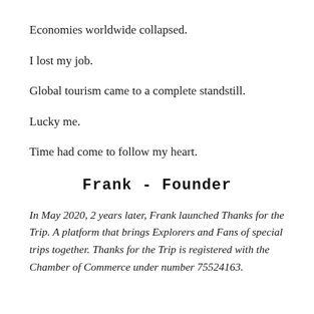Economies worldwide collapsed.
I lost my job.
Global tourism came to a complete standstill.
Lucky me.
Time had come to follow my heart.
Frank - Founder
In May 2020, 2 years later, Frank launched Thanks for the Trip. A platform that brings Explorers and Fans of special trips together. Thanks for the Trip is registered with the Chamber of Commerce under number 75524163.